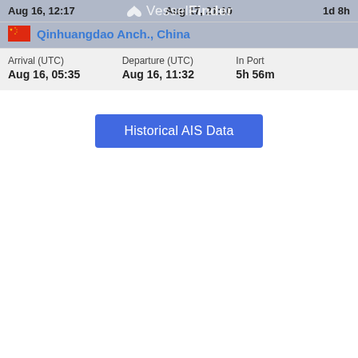|  | Departure (UTC) | In Port |
| --- | --- | --- |
| Aug 16, 12:17 | Aug 17, 21:10 | 1d 8h |
Qinhuangdao Anch., China
| Arrival (UTC) | Departure (UTC) | In Port |
| --- | --- | --- |
| Aug 16, 05:35 | Aug 16, 11:32 | 5h 56m |
Historical AIS Data